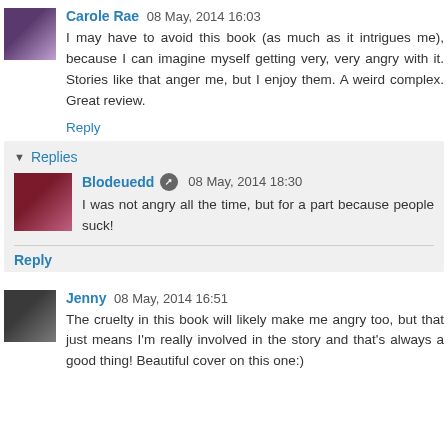Carole Rae 08 May, 2014 16:03
I may have to avoid this book (as much as it intrigues me), because I can imagine myself getting very, very angry with it. Stories like that anger me, but I enjoy them. A weird complex. Great review.
Reply
Replies
Blodeuedd 08 May, 2014 18:30
I was not angry all the time, but for a part because people suck!
Reply
Jenny 08 May, 2014 16:51
The cruelty in this book will likely make me angry too, but that just means I'm really involved in the story and that's always a good thing! Beautiful cover on this one:)